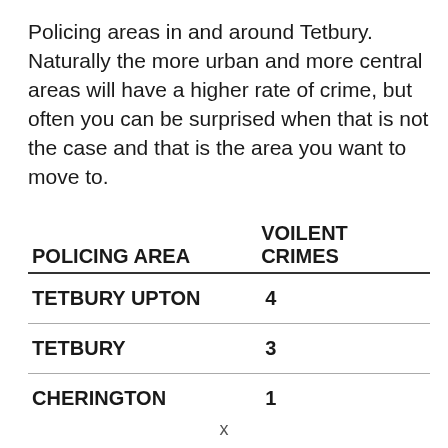Policing areas in and around Tetbury. Naturally the more urban and more central areas will have a higher rate of crime, but often you can be surprised when that is not the case and that is the area you want to move to.
| POLICING AREA | VOILENT CRIMES |
| --- | --- |
| TETBURY UPTON | 4 |
| TETBURY | 3 |
| CHERINGTON | 1 |
x